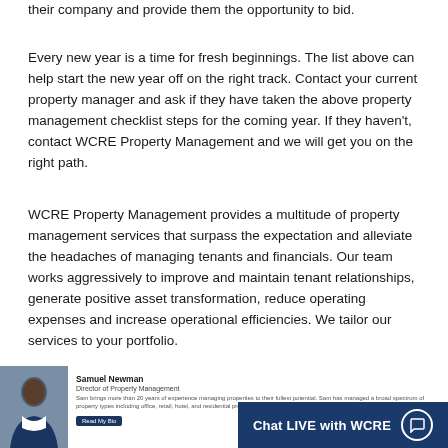their company and provide them the opportunity to bid.
Every new year is a time for fresh beginnings. The list above can help start the new year off on the right track. Contact your current property manager and ask if they have taken the above property management checklist steps for the coming year. If they haven't, contact WCRE Property Management and we will get you on the right path.
WCRE Property Management provides a multitude of property management services that surpass the expectation and alleviate the headaches of managing tenants and financials. Our team works aggressively to improve and maintain tenant relationships, generate positive asset transformation, reduce operating expenses and increase operational efficiencies. We tailor our services to your portfolio.
[Figure (photo): Author photo and bio card for Samuel Newman, Director of Property Management, with a blue 'Read My Bio' button, partially overlaid by a dark blue chat bar reading 'Chat LIVE with WCRE' with a chat bubble icon.]